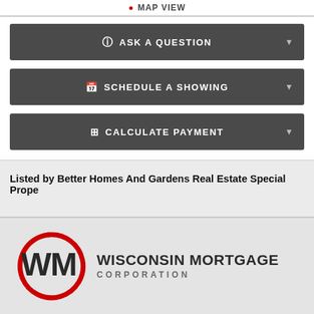MAP VIEW
ASK A QUESTION
SCHEDULE A SHOWING
CALCULATE PAYMENT
Listed by Better Homes And Gardens Real Estate Special Prope
[Figure (logo): Wisconsin Mortgage Corporation logo with WM letters in a circular red arc, followed by the text WISCONSIN MORTGAGE CORPORATION]